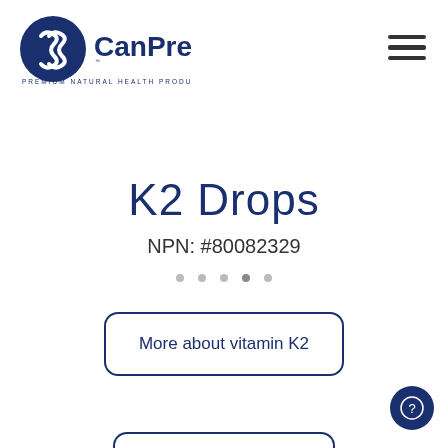[Figure (logo): CanPrev logo with blue circular emblem containing stylized 'S' shapes, text 'CanPrev' in bold blue, trademark symbol, and tagline 'PREMIUM NATURAL HEALTH PRODUCTS']
K2 Drops
NPN: #80082329
More about vitamin K2